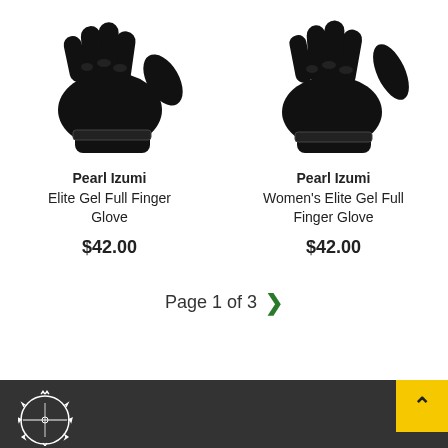[Figure (photo): Black Pearl Izumi Elite Gel Full Finger Glove product photo on white background]
Pearl Izumi
Elite Gel Full Finger Glove
$42.00
[Figure (photo): Black Pearl Izumi Women's Elite Gel Full Finger Glove product photo on white background]
Pearl Izumi
Women's Elite Gel Full Finger Glove
$42.00
Page 1 of 3
[Figure (logo): Circular bicycle shop logo in white on dark footer bar]